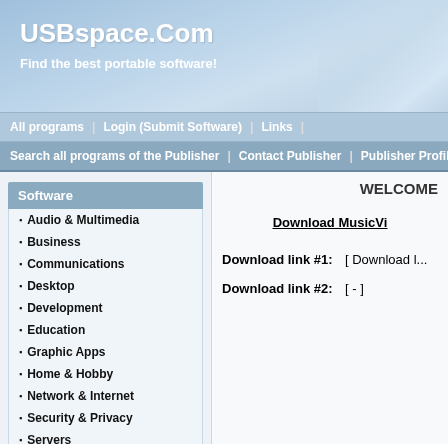USBspace.Com
Find the best portable software!
All programs | Login (Submit Software) | Links |
Search all programs of the Publisher | Contact Publisher | Publisher Profile |
WELCOME
Software
Audio & Multimedia
Business
Communications
Desktop
Development
Education
Graphic Apps
Home & Hobby
Network & Internet
Security & Privacy
Servers
System Utilities
Web Development
Download MusicVi...
Download link #1:   [ Download l...
Download link #2:   [ - ]